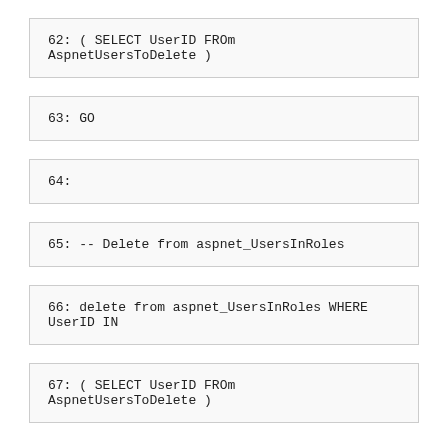62: ( SELECT UserID FROm AspnetUsersToDelete )
63: GO
64:
65: -- Delete from aspnet_UsersInRoles
66: delete from aspnet_UsersInRoles WHERE UserID IN
67: ( SELECT UserID FROm AspnetUsersToDelete )